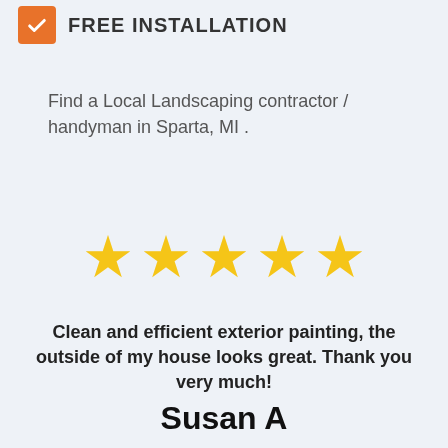FREE INSTALLATION
Find a Local Landscaping contractor / handyman in Sparta, MI .
[Figure (other): Five gold star rating icons displayed in a row]
Clean and efficient exterior painting, the outside of my house looks great. Thank you very much!
Susan A